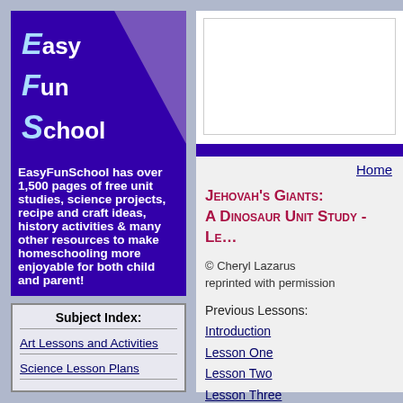[Figure (logo): EasyFunSchool logo with E, F, S letters on purple background with triangle]
EasyFunSchool has over 1,500 pages of free unit studies, science projects, recipe and craft ideas, history activities & many other resources to make homeschooling more enjoyable for both child and parent!
Subject Index:
Art Lessons and Activities
Science Lesson Plans
Home
Jehovah's Giants: A Dinosaur Unit Study - Le…
© Cheryl Lazarus
reprinted with permission
Previous Lessons:
Introduction
Lesson One
Lesson Two
Lesson Three
Lesson Four
Lesson Five
Lesson Six